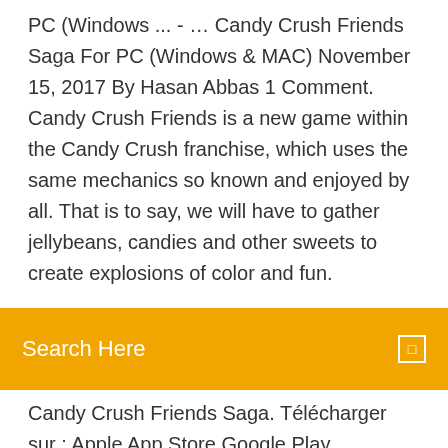PC (Windows ... - … Candy Crush Friends Saga For PC (Windows & MAC) November 15, 2017 By Hasan Abbas 1 Comment. Candy Crush Friends is a new game within the Candy Crush franchise, which uses the same mechanics so known and enjoyed by all. That is to say, we will have to gather jellybeans, candies and other sweets to create explosions of color and fun.
[Figure (screenshot): Orange search bar overlay with 'Search Here' placeholder text in white and a small white bordered search icon on the right]
Candy Crush Friends Saga. Télécharger sur : Apple App Store Google Play. Rechercher des alternatives sur : Windows Store. Vous voulez télécharger Candy Crush Friends Saga sur Windows 10 (PC, mobile, tablette) ou Xbox ? Agissez ! King n'a pas encore répondu ou n'a pas encore été contacté. Contactez cet éditeur dès à présent et faites part de sa réponse en commentaires ! Comment
Candy crush saga gratuit. Commencez à jouer à Candy Crush Saga pour android dès aujourd'hui – le jeu de